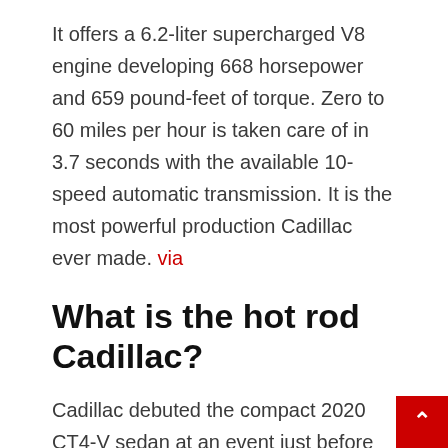It offers a 6.2-liter supercharged V8 engine developing 668 horsepower and 659 pound-feet of torque. Zero to 60 miles per hour is taken care of in 3.7 seconds with the available 10-speed automatic transmission. It is the most powerful production Cadillac ever made. via
What is the hot rod Cadillac?
Cadillac debuted the compact 2020 CT4-V sedan at an event just before the 2019 Detroit Grand Prix. A few days later, a mysterious camouflaged CT4 lapped Detroit's Belle Isle circuit, a hint from Cadillac of an even hotter